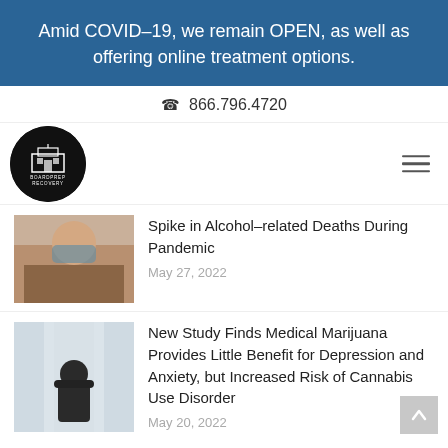Amid COVID-19, we remain OPEN, as well as offering online treatment options.
866.796.4720
[Figure (logo): BoardPrep Recovery circular logo with building icon on black background]
Spike in Alcohol-related Deaths During Pandemic
May 27, 2022
[Figure (photo): Person wearing mask sitting with arms around knees, tattoos visible]
New Study Finds Medical Marijuana Provides Little Benefit for Depression and Anxiety, but Increased Risk of Cannabis Use Disorder
May 20, 2022
[Figure (photo): Silhouette of person in hoodie sitting by window with light coming through curtains]